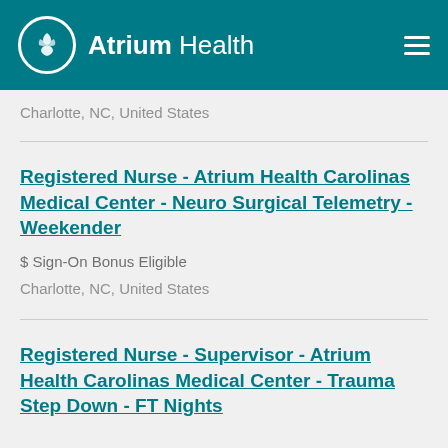Atrium Health
Charlotte, NC, United States
Registered Nurse - Atrium Health Carolinas Medical Center - Neuro Surgical Telemetry - Weekender
$ Sign-On Bonus Eligible
Charlotte, NC, United States
Registered Nurse - Supervisor - Atrium Health Carolinas Medical Center - Trauma Step Down - FT Nights